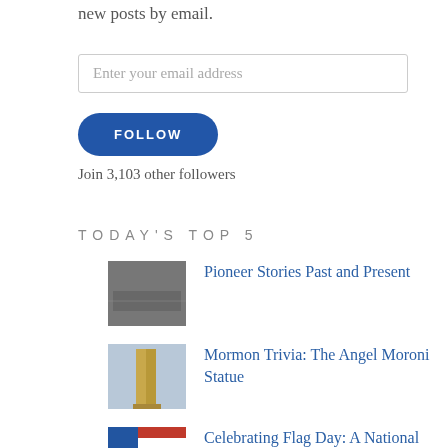new posts by email.
Enter your email address
FOLLOW
Join 3,103 other followers
TODAY'S TOP 5
Pioneer Stories Past and Present
Mormon Trivia: The Angel Moroni Statue
Celebrating Flag Day: A National Pledge and A